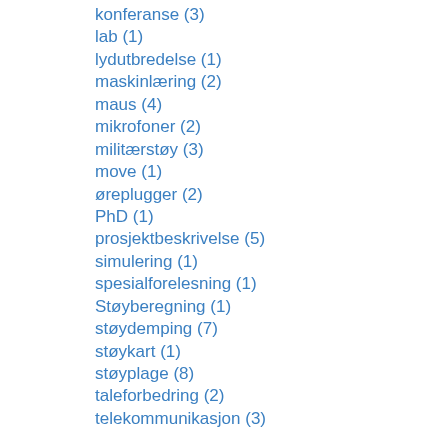konferanse (3)
lab (1)
lydutbredelse (1)
maskinlæring (2)
maus (4)
mikrofoner (2)
militærstøy (3)
move (1)
øreplugger (2)
PhD (1)
prosjektbeskrivelse (5)
simulering (1)
spesialforelesning (1)
Støyberegning (1)
støydemping (7)
støykart (1)
støyplage (8)
taleforbedring (2)
telekommunikasjon (3)